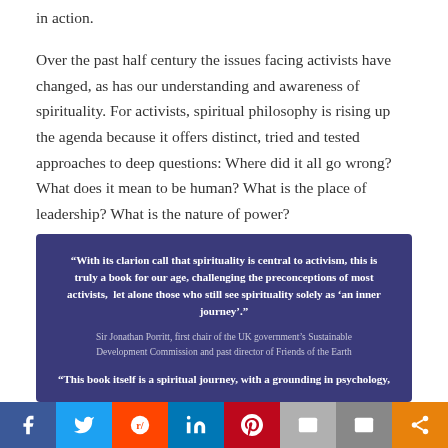in action.
Over the past half century the issues facing activists have changed, as has our understanding and awareness of spirituality. For activists, spiritual philosophy is rising up the agenda because it offers distinct, tried and tested approaches to deep questions: Where did it all go wrong? What does it mean to be human? What is the place of leadership? What is the nature of power?
“With its clarion call that spirituality is central to activism, this is truly a book for our age, challenging the preconceptions of most activists, let alone those who still see spirituality solely as ‘an inner journey’.”
Sir Jonathan Porritt, first chair of the UK government’s Sustainable Development Commission and past director of Friends of the Earth
“This book itself is a spiritual journey, with a grounding in psychology,